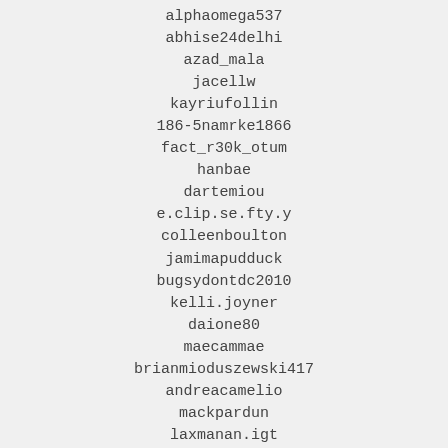alphaomega537
abhise24delhi
azad_mala
jacellw
kayriufollin
186-5namrke1866
fact_r30k_otum
hanbae
dartemiou
e.clip.se.fty.y
colleenboulton
jamimapudduck
bugsydontdc2010
kelli.joyner
daione80
maecammae
brianmioduszewski417
andreacamelio
mackpardun
laxmanan.igt
fan30
migunov2i
ieclise
dominiquenaeve